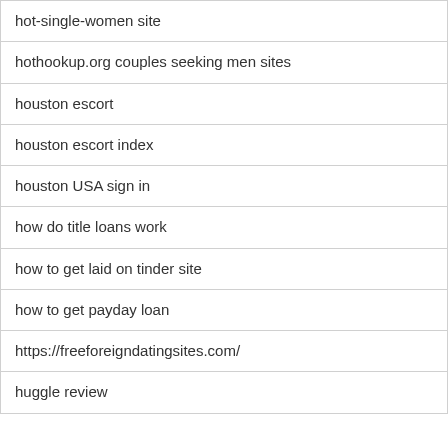| hot-single-women site |
| hothookup.org couples seeking men sites |
| houston escort |
| houston escort index |
| houston USA sign in |
| how do title loans work |
| how to get laid on tinder site |
| how to get payday loan |
| https://freeforeigndatingsites.com/ |
| huggle review |